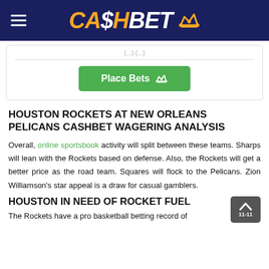CA$HBET
Place Bets
HOUSTON ROCKETS AT NEW ORLEANS PELICANS CASHBET WAGERING ANALYSIS
Overall, online sportsbook activity will split between these teams. Sharps will lean with the Rockets based on defense. Also, the Rockets will get a better price as the road team. Squares will flock to the Pelicans. Zion Williamson's star appeal is a draw for casual gamblers.
HOUSTON IN NEED OF ROCKET FUEL
The Rockets have a pro basketball betting record of 11-11